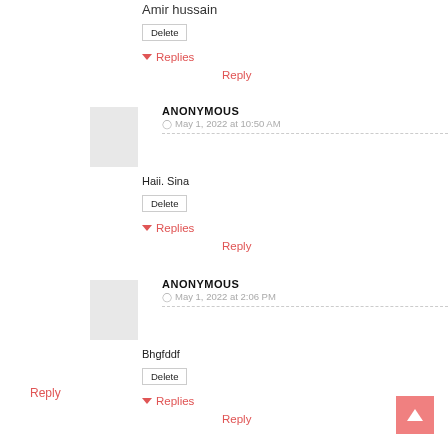Amir hussain
Delete
▼ Replies
Reply
ANONYMOUS
May 1, 2022 at 10:50 AM
Haii. Sina
Delete
▼ Replies
Reply
ANONYMOUS
May 1, 2022 at 2:06 PM
Bhgfddf
Delete
▼ Replies
Reply
Reply